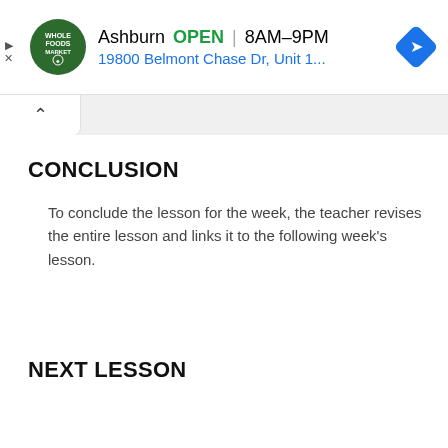[Figure (screenshot): Whole Foods Market ad banner showing Ashburn location, OPEN 8AM-9PM, address 19800 Belmont Chase Dr, Unit 1..., with navigation diamond icon]
CONCLUSION
To conclude the lesson for the week, the teacher revises the entire lesson and links it to the following week’s lesson.
NEXT LESSON
LESSON EVALUATION
Ask pupils to: